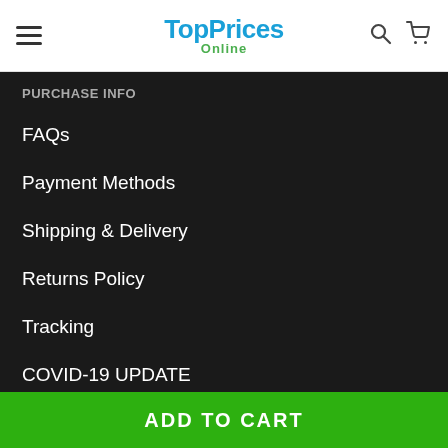TopPrices Online
PURCHASE INFO
FAQs
Payment Methods
Shipping & Delivery
Returns Policy
Tracking
COVID-19 UPDATE
[Figure (other): Social media icons: Facebook (f) and Instagram, with a TOP scroll-to-top button]
PAYMENT METHODS:
ADD TO CART